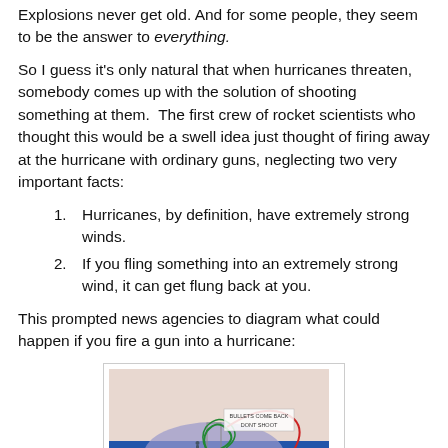Explosions never get old. And for some people, they seem to be the answer to everything.
So I guess it's only natural that when hurricanes threaten, somebody comes up with the solution of shooting something at them.  The first crew of rocket scientists who thought this would be a swell idea just thought of firing away at the hurricane with ordinary guns, neglecting two very important facts:
Hurricanes, by definition, have extremely strong winds.
If you fling something into an extremely strong wind, it can get flung back at you.
This prompted news agencies to diagram what could happen if you fire a gun into a hurricane:
[Figure (infographic): News agency diagram showing what happens when you fire a gun into a hurricane. Shows bullet trajectory being redirected by hurricane winds with arrows and labels 'BULLETS COME BACK DONT SHOOT'.]